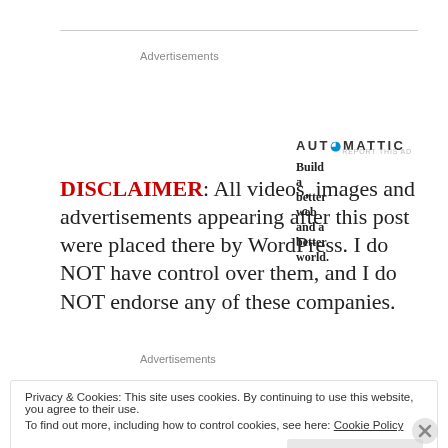Advertisements
[Figure (logo): Automattic logo with tagline: Build a better web and a better world.]
REPORT THIS AD
DISCLAIMER: All videos, images and advertisements appearing after this post were placed there by WordPress. I do NOT have control over them, and I do NOT endorse any of these companies.
Advertisements
Privacy & Cookies: This site uses cookies. By continuing to use this website, you agree to their use. To find out more, including how to control cookies, see here: Cookie Policy
Close and accept